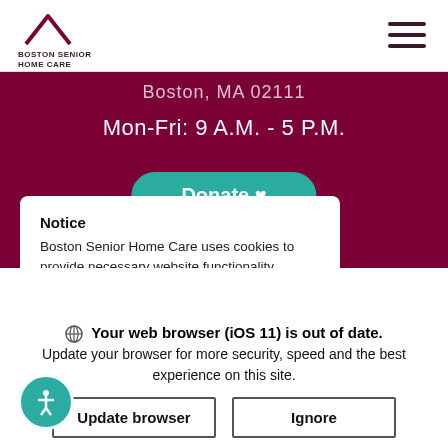BOSTON SENIOR HOME CARE
Boston, MA 02111
Mon-Fri: 9 A.M. - 5 P.M.
Donate ♥
Notice
Boston Senior Home Care uses cookies to provide necessary website functionality, improve your web experience and allows us to analyze traffic. Continuing, you give...
Your web browser (iOS 11) is out of date. Update your browser for more security, speed and the best experience on this site.
Update browser
Ignore